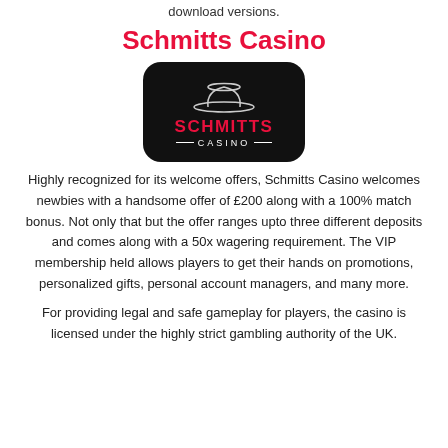download versions.
Schmitts Casino
[Figure (logo): Schmitts Casino logo: black rounded rectangle with a white bowler hat outline on top, red bold text 'SCHMITTS', and white text '— CASINO —' below]
Highly recognized for its welcome offers, Schmitts Casino welcomes newbies with a handsome offer of £200 along with a 100% match bonus. Not only that but the offer ranges upto three different deposits and comes along with a 50x wagering requirement. The VIP membership held allows players to get their hands on promotions, personalized gifts, personal account managers, and many more.
For providing legal and safe gameplay for players, the casino is licensed under the highly strict gambling authority of the UK.